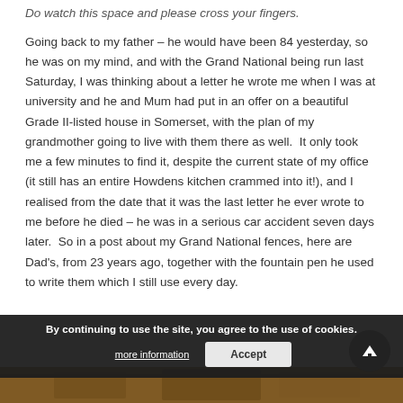Do watch this space and please cross your fingers.
Going back to my father – he would have been 84 yesterday, so he was on my mind, and with the Grand National being run last Saturday, I was thinking about a letter he wrote me when I was at university and he and Mum had put in an offer on a beautiful Grade II-listed house in Somerset, with the plan of my grandmother going to live with them there as well.  It only took me a few minutes to find it, despite the current state of my office (it still has an entire Howdens kitchen crammed into it!), and I realised from the date that it was the last letter he ever wrote to me before he died – he was in a serious car accident seven days later.  So in a post about my Grand National fences, here are Dad's, from 23 years ago, together with the fountain pen he used to write them which I still use every day.
[Figure (photo): Strip of a photo at the bottom of the page, showing a wooden surface or objects.]
By continuing to use the site, you agree to the use of cookies.